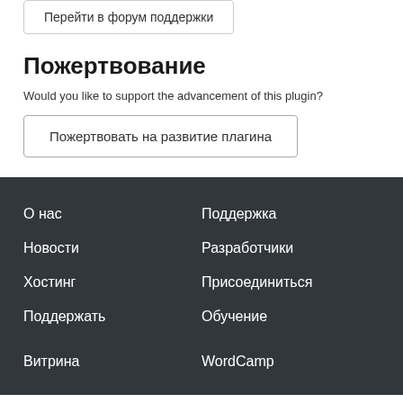Перейти в форум поддержки
Пожертвование
Would you like to support the advancement of this plugin?
Пожертвовать на развитие плагина
О нас
Поддержка
Новости
Разработчики
Хостинг
Присоединиться
Поддержать
Обучение
Витрина
WordCamp